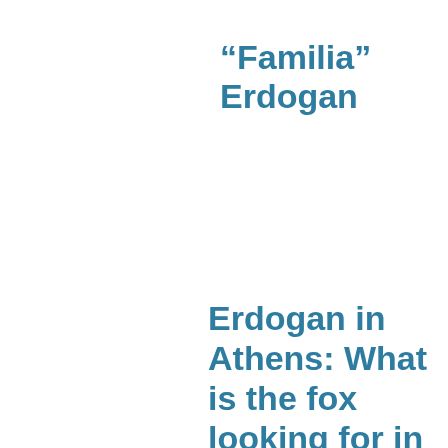“Familia” Erdogan
Erdogan in Athens: What is the fox looking for in the bargain?